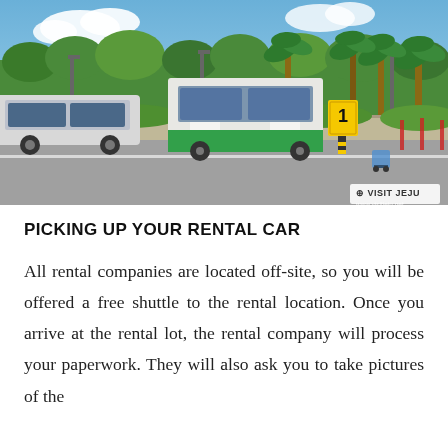[Figure (photo): Outdoor photo of buses and vans in a parking/shuttle area near an airport, with palm trees and lush greenery in the background, blue sky above. A white van is on the left, a green-and-white bus is in the center, and a yellow numbered sign post is visible. VISIT JEJU watermark in the bottom right corner.]
PICKING UP YOUR RENTAL CAR
All rental companies are located off-site, so you will be offered a free shuttle to the rental location. Once you arrive at the rental lot, the rental company will process your paperwork. They will also ask you to take pictures of the